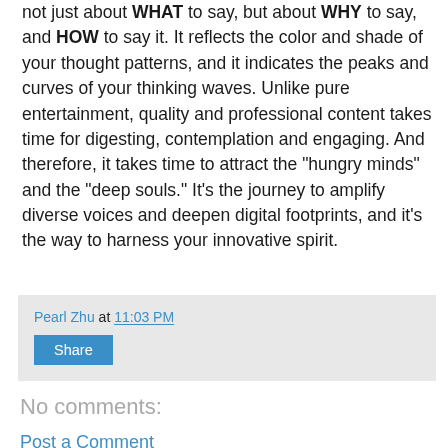not just about WHAT to say, but about WHY to say, and HOW to say it. It reflects the color and shade of your thought patterns, and it indicates the peaks and curves of your thinking waves. Unlike pure entertainment, quality and professional content takes time for digesting, contemplation and engaging. And therefore, it takes time to attract the "hungry minds" and the "deep souls." It's the journey to amplify diverse voices and deepen digital footprints, and it's the way to harness your innovative spirit.
Pearl Zhu at 11:03 PM
Share
No comments:
Post a Comment